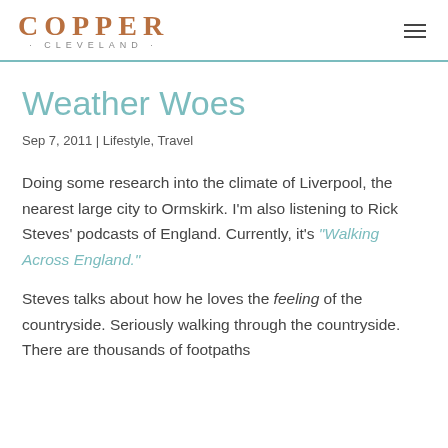COPPER · CLEVELAND ·
Weather Woes
Sep 7, 2011 | Lifestyle, Travel
Doing some research into the climate of Liverpool, the nearest large city to Ormskirk. I'm also listening to Rick Steves' podcasts of England. Currently, it's "Walking Across England."
Steves talks about how he loves the feeling of the countryside. Seriously walking through the countryside. There are thousands of footpaths